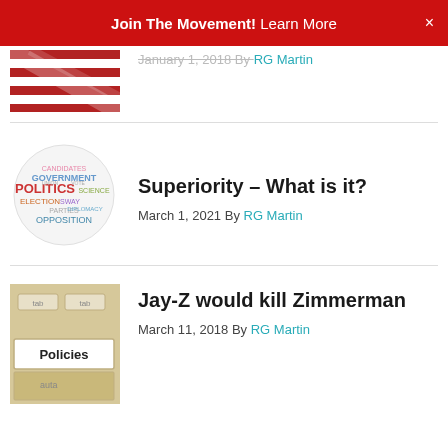Join The Movement! Learn More
January 1, 2018 By RG Martin
Superiority – What is it?
March 1, 2021 By RG Martin
Jay-Z would kill Zimmerman
March 11, 2018 By RG Martin